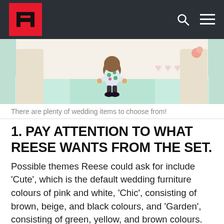[Figure (screenshot): Animal Crossing game screenshot showing a character in a polka-dot outfit standing on a teal/mint wedding-themed rug inside a decorated hall with heart motifs and pink flowers.]
There are plenty of wedding items to choose from!
1. PAY ATTENTION TO WHAT REESE WANTS FROM THE SET.
Possible themes Reese could ask for include ‘Cute’, which is the default wedding furniture colours of pink and white, ‘Chic’, consisting of brown, beige, and black colours, and ‘Garden’, consisting of green, yellow, and brown colours.
2. THE MORE FURNITURE YOU PLACE DOWN THE MORE CRYSTA…